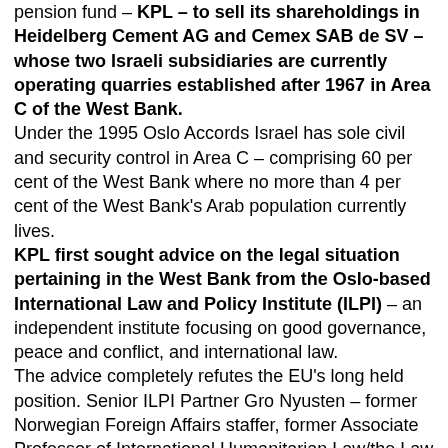pension fund – KPL – to sell its shareholdings in Heidelberg Cement AG and Cemex SAB de SV – whose two Israeli subsidiaries are currently operating quarries established after 1967 in Area C of the West Bank. Under the 1995 Oslo Accords Israel has sole civil and security control in Area C – comprising 60 per cent of the West Bank where no more than 4 per cent of the West Bank's Arab population currently lives. KPL first sought advice on the legal situation pertaining in the West Bank from the Oslo-based International Law and Policy Institute (ILPI) – an independent institute focusing on good governance, peace and conflict, and international law. The advice completely refutes the EU's long held position. Senior ILPI Partner Gro Nyusten – former Norwegian Foreign Affairs staffer, former Associate Professor of International Humanitarian Law/the Law on Armed Conflict at the University of Oslo, from 2008 Associate Professor at the Defence Staff University College